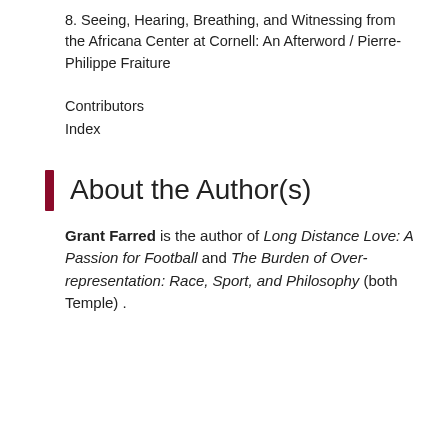8. Seeing, Hearing, Breathing, and Witnessing from the Africana Center at Cornell: An Afterword / Pierre-Philippe Fraiture
Contributors
Index
About the Author(s)
Grant Farred is the author of Long Distance Love: A Passion for Football and The Burden of Over-representation: Race, Sport, and Philosophy (both Temple) .